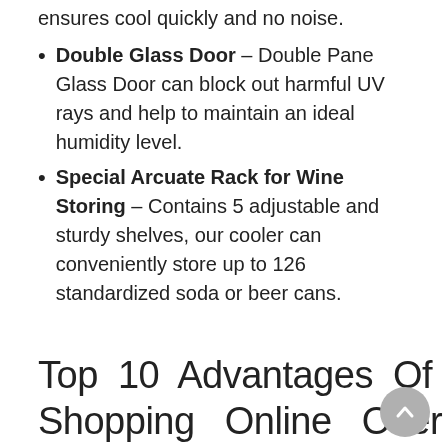Double Glass Door – Double Pane Glass Door can block out harmful UV rays and help to maintain an ideal humidity level.
Special Arcuate Rack for Wine Storing – Contains 5 adjustable and sturdy shelves, our cooler can conveniently store up to 126 standardized soda or beer cans.
Top 10 Advantages Of Shopping Online Over Traditional Shopping.